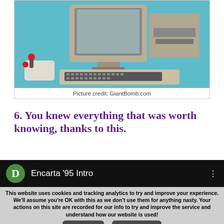[Figure (photo): Commodore 64 computer setup with joystick, monitor, keyboard, and floppy disk drive on a teal surface]
Picture credit: GiantBomb.com
6. You knew everything that was worth knowing, thanks to this.
[Figure (screenshot): YouTube/video player showing 'Encarta '95 Intro' with green D icon on black background]
This website uses cookies and tracking analytics to try and improve your experience. We'll assume you're OK with this as we don't use them for anything nasty. Your actions on this site are recorded for our info to try and improve the service and understand how our website is used!
By using our site, you acknowledge that you have read and understand our Cookie Terms, Privacy Policy and our Terms of Service. Your use of Thinking Bob is subject to these policies and terms.